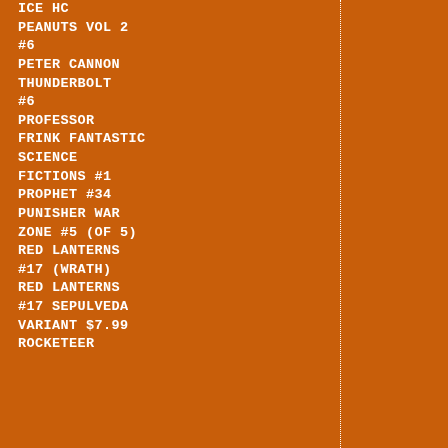ICE HC
PEANUTS VOL 2 #6
PETER CANNON THUNDERBOLT #6
PROFESSOR FRINK FANTASTIC SCIENCE FICTIONS #1
PROPHET #34
PUNISHER WAR ZONE #5 (OF 5)
RED LANTERNS #17 (WRATH)
RED LANTERNS #17 SEPULVEDA VARIANT $7.99
ROCKETEER